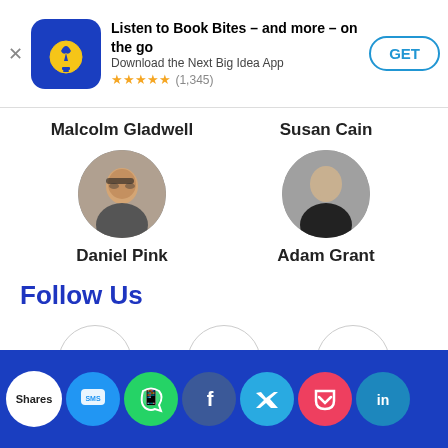[Figure (screenshot): App store banner: Next Big Idea App with blue icon, title 'Listen to Book Bites – and more – on the go', subtitle 'Download the Next Big Idea App', 5-star rating (1,345 reviews), GET button]
Malcolm Gladwell
Susan Cain
[Figure (photo): Circular photo of Daniel Pink wearing glasses]
[Figure (photo): Circular photo of Adam Grant, bald man in black shirt]
Daniel Pink
Adam Grant
Follow Us
[Figure (infographic): Three social media icons in circles: Facebook (f), Twitter (bird), Linkedin (in) with labels below]
[Figure (infographic): Blue share bar at bottom with Shares label and social media share buttons: SMS, WhatsApp, Facebook, Twitter, Pocket, LinkedIn]